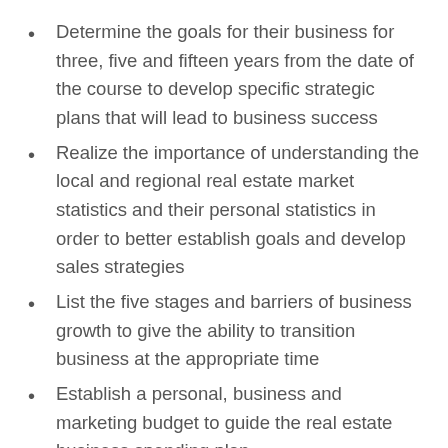Determine the goals for their business for three, five and fifteen years from the date of the course to develop specific strategic plans that will lead to business success
Realize the importance of understanding the local and regional real estate market statistics and their personal statistics in order to better establish goals and develop sales strategies
List the five stages and barriers of business growth to give the ability to transition business at the appropriate time
Establish a personal, business and marketing budget to guide the real estate business spending plan
Recognize the retirement needs of a real